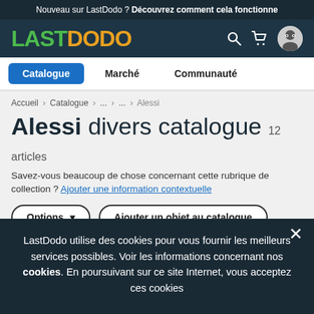Nouveau sur LastDodo ? Découvrez comment cela fonctionne
[Figure (logo): LastDodo logo with LAST in green and DODO in orange, with search, cart, and avatar icons on the right]
Catalogue   Marché   Communauté
Accueil > Catalogue > ... > ... > Alessi
Alessi divers catalogue  12 articles
Savez-vous beaucoup de chose concernant cette rubrique de collection ? Ajouter une information contextuelle
Options ▾   Ajouter un objet au catalogue
LastDodo utilise des cookies pour vous fournir les meilleurs services possibles. Voir les informations concernant nos cookies. En poursuivant sur ce site Internet, vous acceptez ces cookies